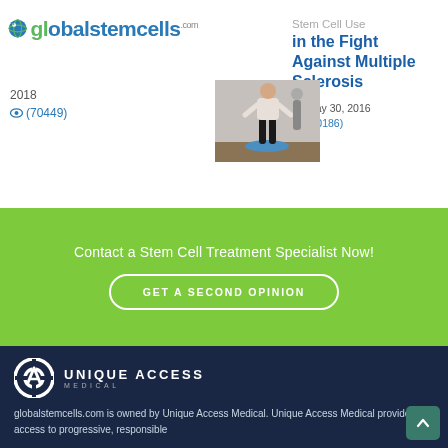[Figure (logo): GlobalStemCells.com logo with globe icon]
Stem Cell Use
in the Fight Against Multiple Sclerosis
May 30, 2016
(40186)
2018
(70449)
[Figure (photo): Person exercising on balance board in gym]
Contact a Stem Cell Treatment Specialist Now!
GET A SECOND OPINION
[Figure (logo): Unique Access Medical logo]
globalstemcells.com is owned by Unique Access Medical. Unique Access Medical provides access to progressive, responsible